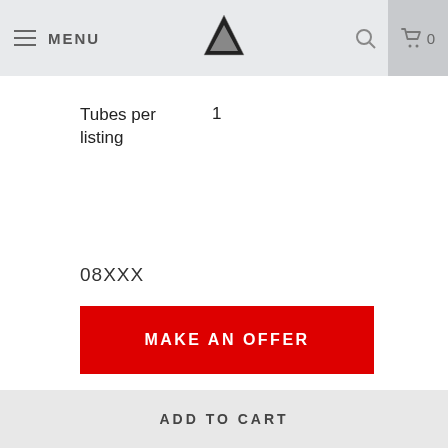MENU | [logo] | [search] | 0
Tubes per listing	1
08XXX
MAKE AN OFFER
QTY
— 1 +
ADD TO CART